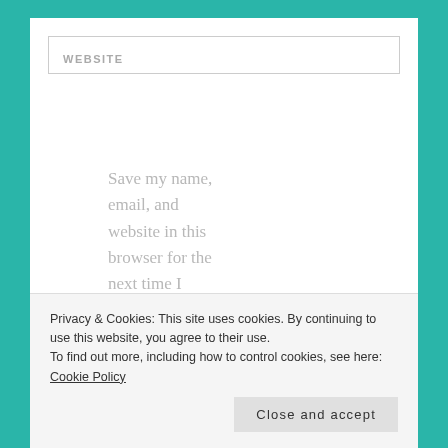WEBSITE
Save my name, email, and website in this browser for the next time I comment.
Notify me of follow-up comments by email.
Notify me of new posts by email
Privacy & Cookies: This site uses cookies. By continuing to use this website, you agree to their use.
To find out more, including how to control cookies, see here: Cookie Policy
Close and accept